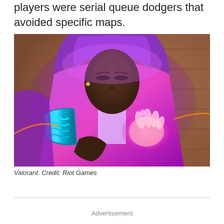players were serial queue dodgers that avoided specific maps.
[Figure (photo): Screenshot from the video game Valorant showing a female character with dark skin wearing a purple hooded outfit and glowing pink/purple energy effects around her hands and body, with a blue geometric arm piece visible on her left arm. Background shows an adobe-style environment.]
Valorant. Credit: Riot Games
Advertisement